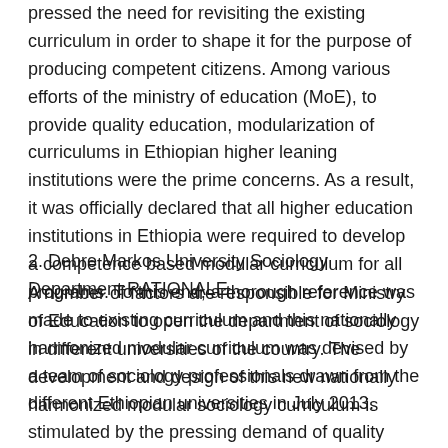pressed the need for revisiting the existing curriculum in order to shape it for the purpose of producing competent citizens. Among various efforts of the ministry of education (MoE), to provide quality education, modularization of curriculums in Ethiopian higher leaning institutions were the prime concerns. As a result, it was officially declared that all higher education institutions in Ethiopia were required to develop a competence based modular curriculum for all programs. To this end, a thorough reference was made to existing curriculum and this nationally harmonized modular curriculum was devised by a team of sociology professionals drawn from the different Ethiopian universities in July 2013.
2. Debre Markos University Sociology Department RATIONALE
A number of factors are responsible for Ministry of Education to open the department of sociology in different universities of the country. The development and design of this new nationally harmonized modular sociology curriculum is stimulated by the pressing demand of quality education both at global and national level. Above all, the country's current